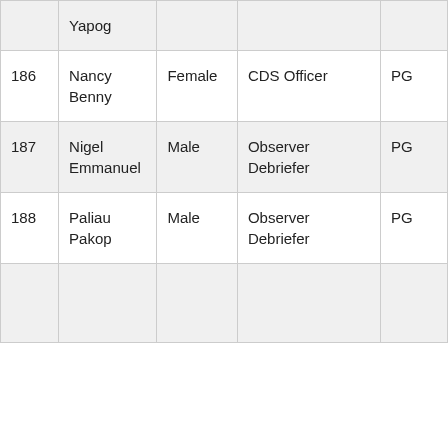|  | Yapog |  |  |  |
| 186 | Nancy Benny | Female | CDS Officer | PG |
| 187 | Nigel Emmanuel | Male | Observer Debriefer | PG |
| 188 | Paliau Pakop | Male | Observer Debriefer | PG |